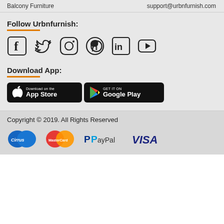Balcony Furniture    support@urbnfurnish.com
Follow Urbnfurnish:
[Figure (infographic): Social media icons: Facebook, Twitter, Instagram, Pinterest, LinkedIn, YouTube]
Download App:
[Figure (infographic): App Store and Google Play download buttons]
Copyright © 2019. All Rights Reserved
[Figure (infographic): Payment logos: Cirrus, MasterCard, PayPal, VISA]